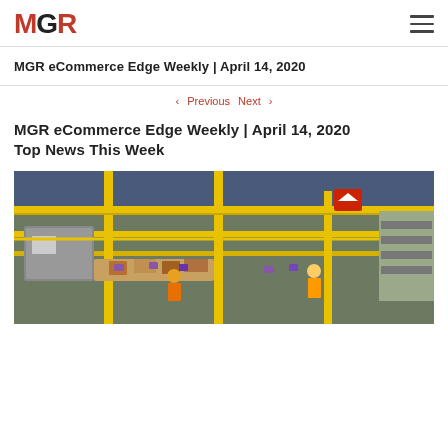MGR — logo and hamburger menu
MGR eCommerce Edge Weekly | April 14, 2020
< Previous   Next >
MGR eCommerce Edge Weekly | April 14, 2020
Top News This Week
[Figure (photo): Interior of an Amazon fulfillment warehouse with yellow conveyor belts, machinery, and warehouse workers.]